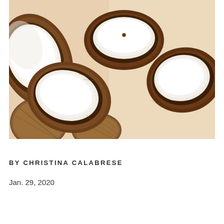[Figure (photo): Several coconuts, some halved to show white flesh interior, arranged on a beige/cream background. The halved coconuts show their white interior meat and dark brown fibrous shells.]
BY CHRISTINA CALABRESE
Jan. 29, 2020